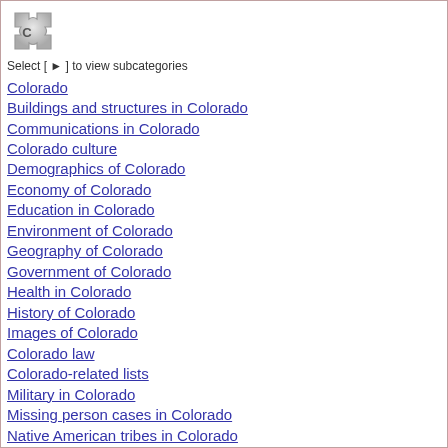[Figure (illustration): Puzzle piece icon (Wikipedia category icon) in gray/silver tones]
Select [ ▶ ] to view subcategories
Colorado
Buildings and structures in Colorado
Communications in Colorado
Colorado culture
Demographics of Colorado
Economy of Colorado
Education in Colorado
Environment of Colorado
Geography of Colorado
Government of Colorado
Health in Colorado
History of Colorado
Images of Colorado
Colorado law
Colorado-related lists
Military in Colorado
Missing person cases in Colorado
Native American tribes in Colorado
People from Colorado
Politics of Colorado
Professional wrestling in Colorado
Science and technology in Colorado